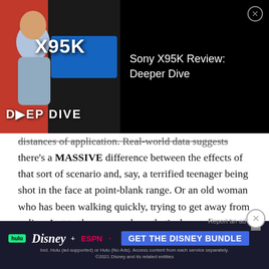[Figure (screenshot): Video ad overlay for Sony X95K Review: Deeper Dive with thumbnail showing a man in front of a display with 'X95K DEEP DIVE' text on black background, with a close button (X)]
distances of application. Real-world data suggests there's a MASSIVE difference between the effects of that sort of scenario and, say, a terrified teenager being shot in the face at point-blank range. Or an old woman who has been walking quickly, trying to get away from police. Just to throw some hypotheticals out there.) Meanwhile, the evidence that does exist strongly suggests that police forces are currently using pepper spray in ways that are inappropriate and unsafe. Evidence. Not opinion.

Also: Liquid antacids seem to be the best way to
[Figure (screenshot): Disney Bundle advertisement banner at bottom: hulu, Disney+, ESPN+ logos with 'GET THE DISNEY BUNDLE' button in blue, fine print below]